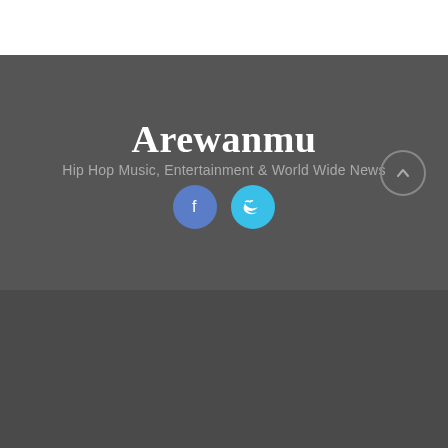Arewanmu
Hip Hop Music, Entertainment & World Wide News
[Figure (other): Website footer/header section with site title Arewanmu, subtitle, Facebook and Twitter social media buttons, and a scroll-to-top button]
[Figure (photo): Two photos side by side: left shows a dark-skinned man (Burna Boy), right shows a lighter image with Grammy trophy and another person (Wizkid)]
Wizkid, Burna Boy nominated for 2022 Grammy